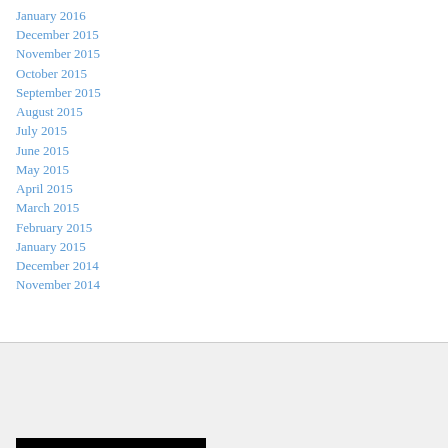January 2016
December 2015
November 2015
October 2015
September 2015
August 2015
July 2015
June 2015
May 2015
April 2015
March 2015
February 2015
January 2015
December 2014
November 2014